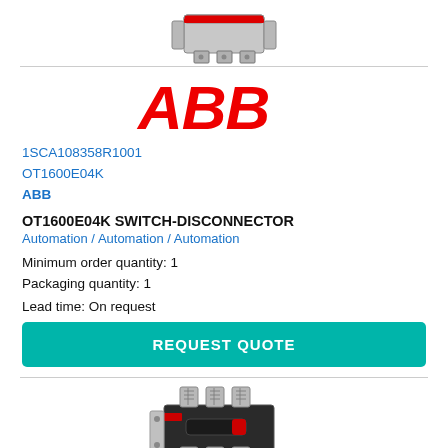[Figure (photo): Top view of an ABB switch-disconnector device, gray metal housing with three terminals]
[Figure (logo): ABB logo in red italic bold text]
1SCA108358R1001
OT1600E04K
ABB
OT1600E04K SWITCH-DISCONNECTOR
Automation / Automation / Automation
Minimum order quantity: 1
Packaging quantity: 1
Lead time: On request
REQUEST QUOTE
[Figure (photo): Side view of an ABB switch-disconnector with red handle and terminal blocks]